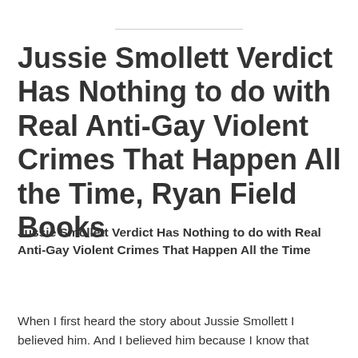Jussie Smollett Verdict Has Nothing to do with Real Anti-Gay Violent Crimes That Happen All the Time, Ryan Field Books
Jussie Smollett Verdict Has Nothing to do with Real Anti-Gay Violent Crimes That Happen All the Time
When I first heard the story about Jussie Smollett I believed him. And I believed him because I know that